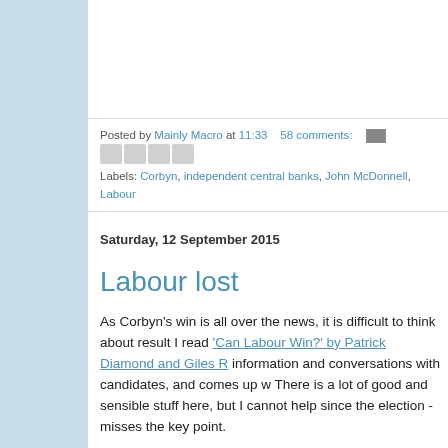Posted by Mainly Macro at 11:33   58 comments:
Labels: Corbyn, independent central banks, John McDonnell, Labour
Saturday, 12 September 2015
Labour lost
As Corbyn’s win is all over the news, it is difficult to think about result I read ‘Can Labour Win?’ by Patrick Diamond and Giles R information and conversations with candidates, and comes up w There is a lot of good and sensible stuff here, but I cannot help since the election - misses the key point.
Perhaps part of the problem is that a great deal of this analysis are, quite rightly, really interested in policy. So all the analysis is which way policy should move as a result. We get into territory  what policy should be.
The point all this misses is that the Conservatives won. It used  oppositions, win or lose elections. Yet all of the comment is abo to start is why voters voted for a Conservative government. Th